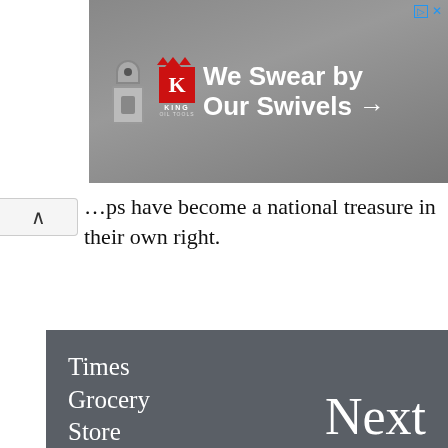[Figure (screenshot): Advertisement banner for King Oil Tools showing a robot/tool image and text 'We Swear by Our Swivels →' with King K logo]
…chips have become a national treasure in their own right.
[Figure (screenshot): Navigation panel showing 'Times Grocery Store' on left and 'Next' text on right with dark gray background]
[Figure (screenshot): Social share bar showing 0 SHARES, Facebook share button (f), and Like 106K button]
Around the Web
Ads by Revcontent
[Figure (photo): Partial photo of an elderly person's face]